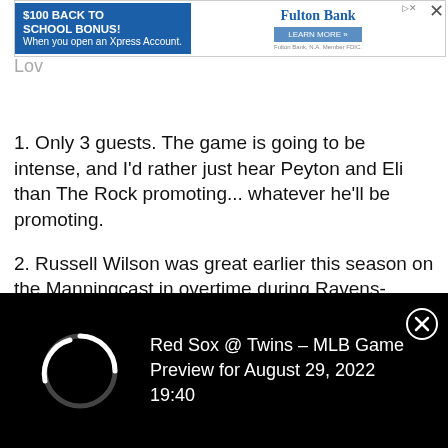[Figure (screenshot): Advertisement banner for Fulton Bank: '$100 BACK TO SCHOOL BONUS! When you open an Xpress Account.' with 'LEARN MORE' button and Fulton Bank logo. Close X button on right.]
Lov
1. Only 3 guests. The game is going to be intense, and I'd rather just hear Peyton and Eli than The Rock promoting... whatever he'll be promoting.
2. Russell Wilson was great earlier this season on the Manningcast in overtime during Ravens-Raiders.
[Figure (screenshot): Quoted tweet from Omaha Productions @OmahaProd: 'Tonight on ESPN2 at EXACTLY 8:13pm ET']
[Figure (screenshot): Black bottom notification bar showing a loading spinner and text: 'Red Sox @ Twins – MLB Game Preview for August 29, 2022 19:40' with a close (X) button.]